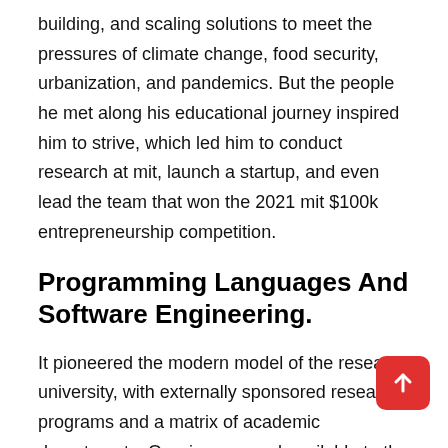building, and scaling solutions to meet the pressures of climate change, food security, urbanization, and pandemics. But the people he met along his educational journey inspired him to strive, which led him to conduct research at mit, launch a startup, and even lead the team that won the 2021 mit $100k entrepreneurship competition.
Programming Languages And Software Engineering.
It pioneered the modern model of the research university, with externally sponsored research programs and a matrix of academic departments. Ocw is open and available to the world and is a permanent mit acti it 1: Ocw is open and available to the world and is a